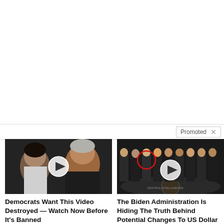Promoted
[Figure (photo): Thumbnail of Melania and Donald Trump with a video play button overlay]
Democrats Want This Video Destroyed — Watch Now Before It's Banned
🔥 220,028
[Figure (photo): Thumbnail of people standing in a formal line in what appears to be a CIA building with a video play button overlay and a red circle highlighting one person]
The Biden Administration Is Hiding The Truth Behind Potential Changes To US Dollar
🔥 41,559